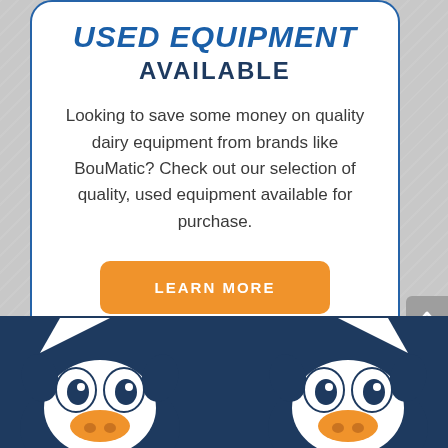USED EQUIPMENT AVAILABLE
Looking to save some money on quality dairy equipment from brands like BouMatic? Check out our selection of quality, used equipment available for purchase.
[Figure (illustration): Orange rounded button with white uppercase text 'LEARN MORE']
[Figure (illustration): Bottom section with dark navy background showing two cartoon dairy cow mascot faces (eyes and snouts visible) on left and right sides, with white speech bubble tails pointing up]